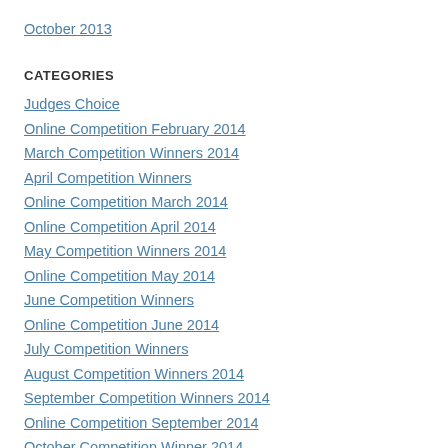October 2013
CATEGORIES
Judges Choice
Online Competition February 2014
March Competition Winners 2014
April Competition Winners
Online Competition March 2014
Online Competition April 2014
May Competition Winners 2014
Online Competition May 2014
June Competition Winners
Online Competition June 2014
July Competition Winners
August Competition Winners 2014
September Competition Winners 2014
Online Competition September 2014
October Competition Winner 2014